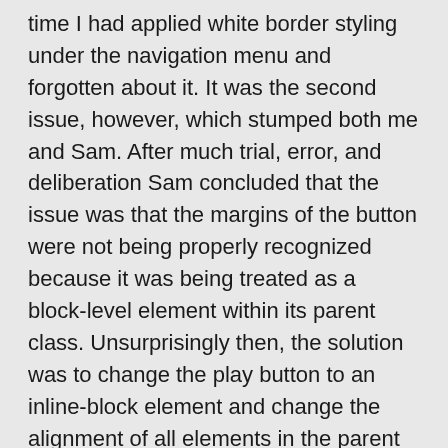time I had applied white border styling under the navigation menu and forgotten about it. It was the second issue, however, which stumped both me and Sam. After much trial, error, and deliberation Sam concluded that the issue was that the margins of the button were not being properly recognized because it was being treated as a block-level element within its parent class. Unsurprisingly then, the solution was to change the play button to an inline-block element and change the alignment of all elements in the parent class. The third issue was remedied with a very simple solution as well. The bullet points were a result of CSS default styling which I quickly removed, and the images could be sized appropriately by changing the object-fit parameter, in this case to contain, and assigning a maximum height to the images. Sam's guidance on troubleshooting code was incredibly useful. He had one main piece of advice, which is to pick an approach when it comes to CSS and stick with